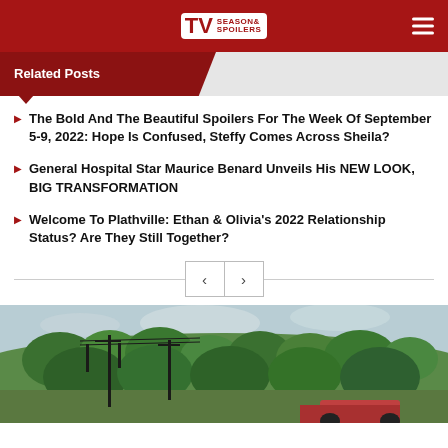TV Season & Spoilers
Related Posts
The Bold And The Beautiful Spoilers For The Week Of September 5-9, 2022: Hope Is Confused, Steffy Comes Across Sheila?
General Hospital Star Maurice Benard Unveils His NEW LOOK, BIG TRANSFORMATION
Welcome To Plathville: Ethan & Olivia's 2022 Relationship Status? Are They Still Together?
[Figure (photo): Outdoor photo showing trees and a car partially visible, with utility poles in the background against a cloudy sky]